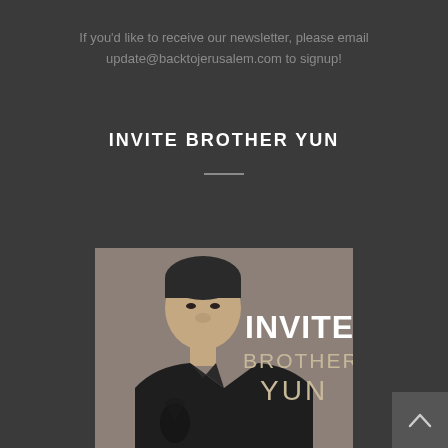If you'd like to receive our newsletter, please email update@backtojerusalem.com to signup!
INVITE BROTHER YUN
[Figure (photo): Black and white photo of Brother Yun wearing a traditional Chinese jacket, with bold text overlay reading 'INVITE BROTHER YUN']